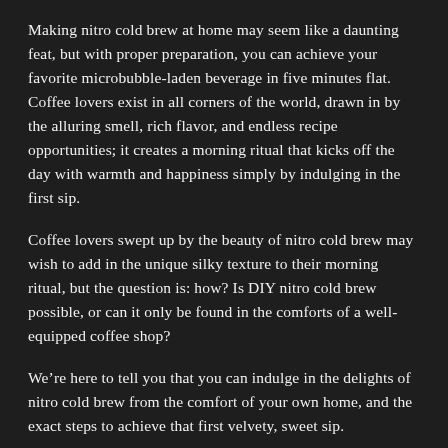Making nitro cold brew at home may seem like a daunting feat, but with proper preparation, you can achieve your favorite microbubble-laden beverage in five minutes flat. Coffee lovers exist in all corners of the world, drawn in by the alluring smell, rich flavor, and endless recipe opportunities; it creates a morning ritual that kicks off the day with warmth and happiness simply by indulging in the first sip.
Coffee lovers swept up by the beauty of nitro cold brew may wish to add in the unique silky texture to their morning ritual, but the question is: how? Is DIY nitro cold brew possible, or can it only be found in the comforts of a well-equipped coffee shop?
We’re here to tell you that you can indulge in the delights of nitro cold brew from the comfort of your own home, and the exact steps to achieve that first velvety, sweet sip.